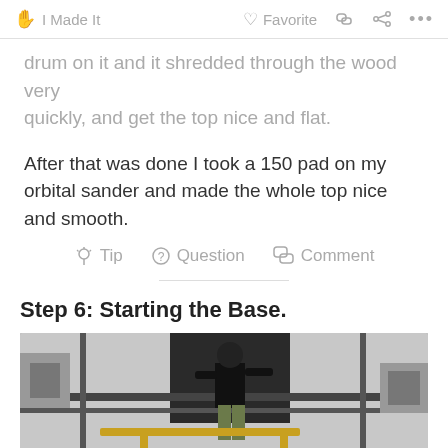I Made It  Favorite  Comment  Share  ...
drum on it and it shredded through the wood very quickly, and get the top nice and flat.
After that was done I took a 150 pad on my orbital sander and made the whole top nice and smooth.
Tip  Question  Comment
Step 6: Starting the Base.
[Figure (photo): A person standing on scaffolding or a ladder structure, working on a construction or renovation project in what appears to be a garage or workshop setting.]